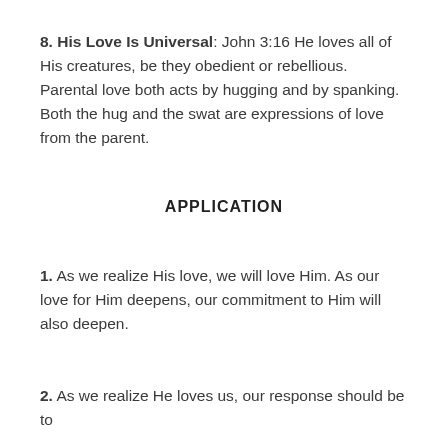8. His Love Is Universal: John 3:16 He loves all of His creatures, be they obedient or rebellious. Parental love both acts by hugging and by spanking. Both the hug and the swat are expressions of love from the parent.
APPLICATION
1. As we realize His love, we will love Him. As our love for Him deepens, our commitment to Him will also deepen.
2. As we realize He loves us, our response should be to